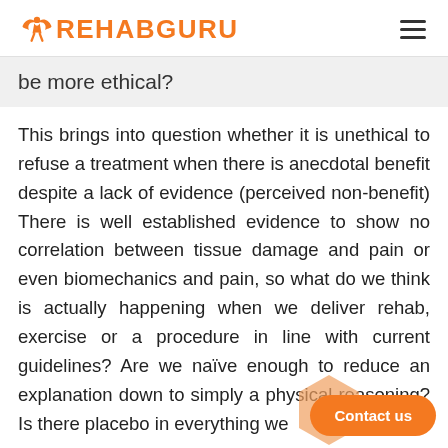REHABGURU
be more ethical?
This brings into question whether it is unethical to refuse a treatment when there is anecdotal benefit despite a lack of evidence (perceived non-benefit) There is well established evidence to show no correlation between tissue damage and pain or even biomechanics and pain, so what do we think is actually happening when we deliver rehab, exercise or a procedure in line with current guidelines? Are we naïve enough to reduce an explanation down to simply a physical reasoning? Is there placebo in everything we...